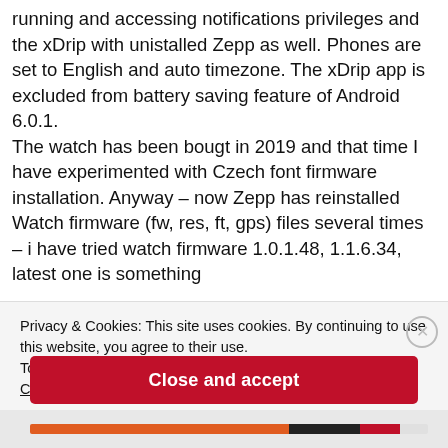running and accessing notifications privileges and the xDrip with unistalled Zepp as well. Phones are set to English and auto timezone. The xDrip app is excluded from battery saving feature of Android 6.0.1. The watch has been bougt in 2019 and that time I have experimented with Czech font firmware installation. Anyway – now Zepp has reinstalled Watch firmware (fw, res, ft, gps) files several times – i have tried watch firmware 1.0.1.48, 1.1.6.34, latest one is something
Privacy & Cookies: This site uses cookies. By continuing to use this website, you agree to their use.
To find out more, including how to control cookies, see here:
Cookie Policy
Close and accept